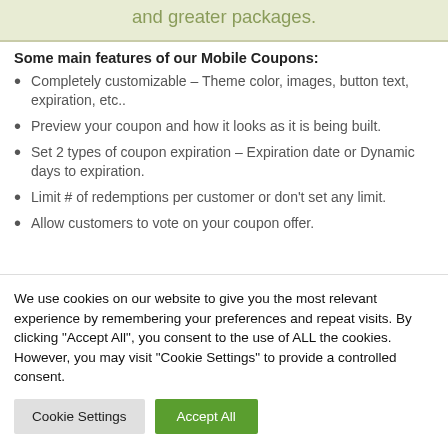and greater packages.
Some main features of our Mobile Coupons:
Completely customizable – Theme color, images, button text, expiration, etc..
Preview your coupon and how it looks as it is being built.
Set 2 types of coupon expiration – Expiration date or Dynamic days to expiration.
Limit # of redemptions per customer or don't set any limit.
Allow customers to vote on your coupon offer.
We use cookies on our website to give you the most relevant experience by remembering your preferences and repeat visits. By clicking "Accept All", you consent to the use of ALL the cookies. However, you may visit "Cookie Settings" to provide a controlled consent.